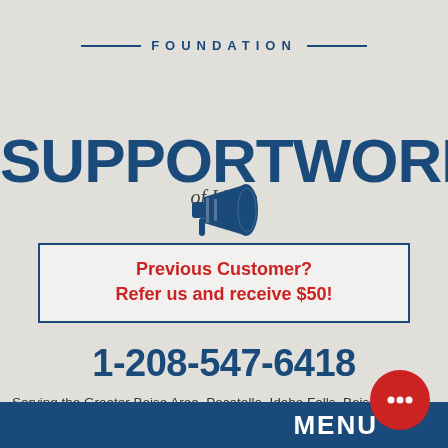FOUNDATION SUPPORTWORKS® of Idaho
[Figure (illustration): Megaphone/bullhorn icon in dark blue]
Previous Customer?
Refer us and receive $50!
1-208-547-6418
Serving the Greater Boise Area, Pocatello, Idaho Falls, Boise
MENU